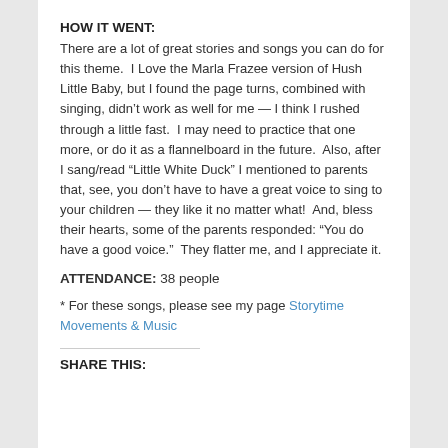HOW IT WENT:
There are a lot of great stories and songs you can do for this theme.  I Love the Marla Frazee version of Hush Little Baby, but I found the page turns, combined with singing, didn’t work as well for me — I think I rushed through a little fast.  I may need to practice that one more, or do it as a flannelboard in the future.  Also, after I sang/read “Little White Duck” I mentioned to parents that, see, you don’t have to have a great voice to sing to your children — they like it no matter what!  And, bless their hearts, some of the parents responded: “You do have a good voice.”  They flatter me, and I appreciate it.
ATTENDANCE: 38 people
* For these songs, please see my page Storytime Movements & Music
SHARE THIS: